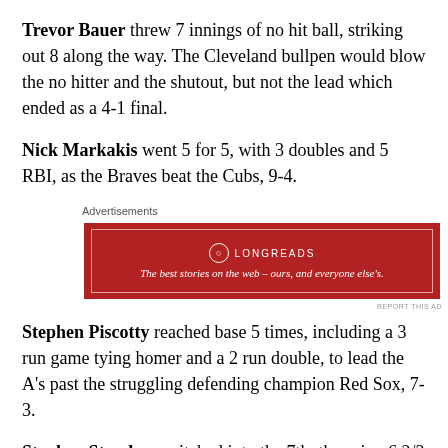Trevor Bauer threw 7 innings of no hit ball, striking out 8 along the way. The Cleveland bullpen would blow the no hitter and the shutout, but not the lead which ended as a 4-1 final.
Nick Markakis went 5 for 5, with 3 doubles and 5 RBI, as the Braves beat the Cubs, 9-4.
[Figure (other): Longreads advertisement banner: red background with Longreads logo and tagline 'The best stories on the web – ours, and everyone else's.']
Stephen Piscotty reached base 5 times, including a 3 run game tying homer and a 2 run double, to lead the A's past the struggling defending champion Red Sox, 7-3.
Stephen Strasburg pitched into the 7th, throwing 6 2/3 shutout 3 hit innings while striking out 9 as the Nationals